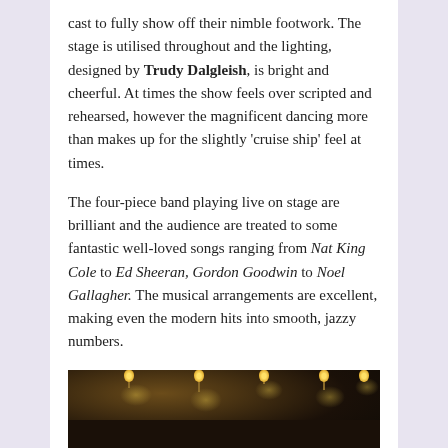cast to fully show off their nimble footwork. The stage is utilised throughout and the lighting, designed by Trudy Dalgleish, is bright and cheerful. At times the show feels over scripted and rehearsed, however the magnificent dancing more than makes up for the slightly 'cruise ship' feel at times.
The four-piece band playing live on stage are brilliant and the audience are treated to some fantastic well-loved songs ranging from Nat King Cole to Ed Sheeran, Gordon Goodwin to Noel Gallagher. The musical arrangements are excellent, making even the modern hits into smooth, jazzy numbers.
[Figure (photo): Dark atmospheric photo of performers on stage with hanging Edison-style light bulbs visible above them, warm amber glow, dark background]